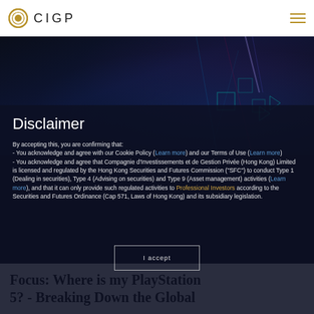CIGP
[Figure (photo): Dark technology circuit board background with blue and red light rays]
Disclaimer
By accepting this, you are confirming that:
- You acknowledge and agree with our Cookie Policy (Learn more) and our Terms of Use (Learn more)
- You acknowledge and agree that Compagnie d'Investissements et de Gestion Privée (Hong Kong) Limited is licensed and regulated by the Hong Kong Securities and Futures Commission ("SFC") to conduct Type 1 (Dealing in securities), Type 4 (Advising on securities) and Type 9 (Asset management) activities (Learn more), and that it can only provide such regulated activities to Professional Investors according to the Securities and Futures Ordinance (Cap 571, Laws of Hong Kong) and its subsidiary legislation.
I accept
Focus: Where is my PlayStation 5? - Breaking Down the Global